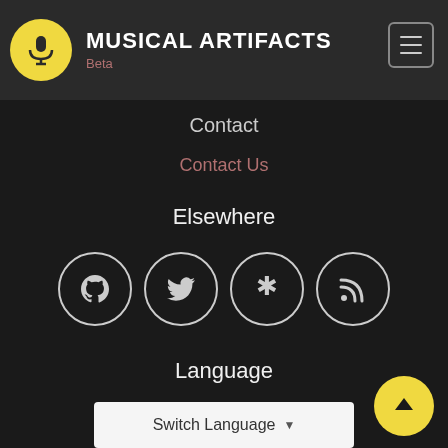MUSICAL ARTIFACTS Beta
Contact
Contact Us
Elsewhere
[Figure (infographic): Four circular social media icon buttons: GitHub, Twitter, Asterisk/diaspora, RSS feed]
Language
Switch Language